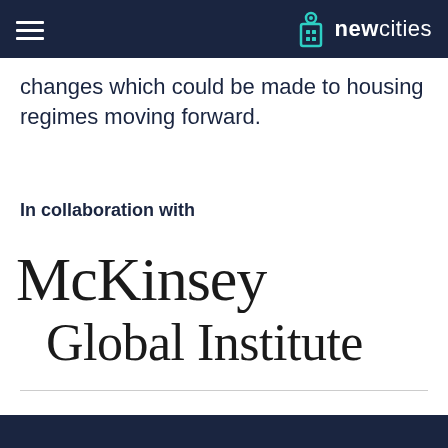newcities
changes which could be made to housing regimes moving forward.
In collaboration with
[Figure (logo): McKinsey Global Institute logo in black serif font]